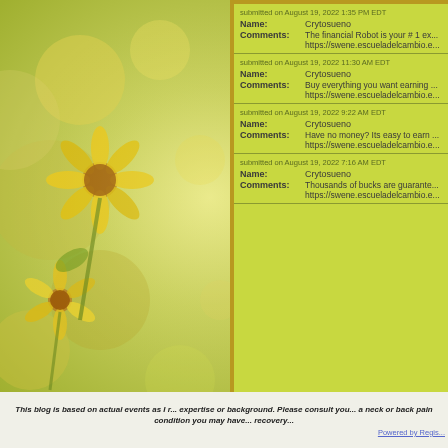[Figure (photo): Background photo of yellow flowers with soft blurred bokeh effect on left side of page]
submitted on August 19, 2022 1:35 PM EDT
Name: Crytosueno
Comments: The financial Robot is your # 1 ex... https://swene.escueladelcambio.e...
submitted on August 19, 2022 11:30 AM EDT
Name: Crytosueno
Comments: Buy everything you want earning ... https://swene.escueladelcambio.e...
submitted on August 19, 2022 9:22 AM EDT
Name: Crytosueno
Comments: Have no money? Its easy to earn ... https://swene.escueladelcambio.e...
submitted on August 19, 2022 7:16 AM EDT
Name: Crytosueno
Comments: Thousands of bucks are guarante... https://swene.escueladelcambio.e...
This blog is based on actual events as I r... expertise or background. Please consult you... a neck or back pain condition you may have... recovery...
Powered by Regis...